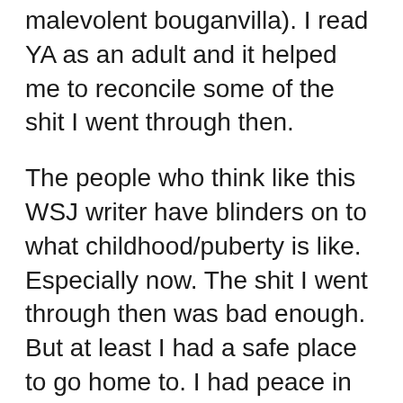malevolent bouganvilla). I read YA as an adult and it helped me to reconcile some of the shit I went through then.
The people who think like this WSJ writer have blinders on to what childhood/puberty is like. Especially now. The shit I went through then was bad enough. But at least I had a safe place to go home to. I had peace in my life outside of school. Now? Now there's goddamn Facebook, cell phones … it's CONSTANTLY there for these kids. They need an outlet and they need hope. YA books give them those things.